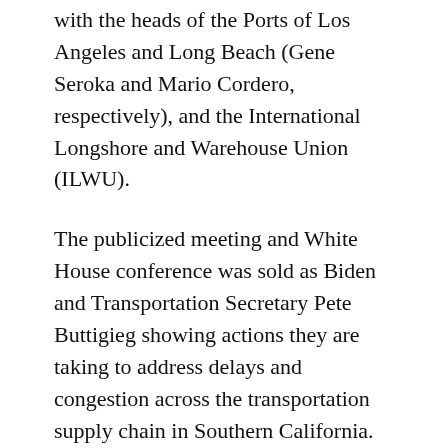with the heads of the Ports of Los Angeles and Long Beach (Gene Seroka and Mario Cordero, respectively), and the International Longshore and Warehouse Union (ILWU).
The publicized meeting and White House conference was sold as Biden and Transportation Secretary Pete Buttigieg showing actions they are taking to address delays and congestion across the transportation supply chain in Southern California.
As a result of the meeting, the Port of Los Angeles (POLA) announced that it will join the Port of Long Beach (POLB) in expanding to 24/7 operations. POLA will also offer...